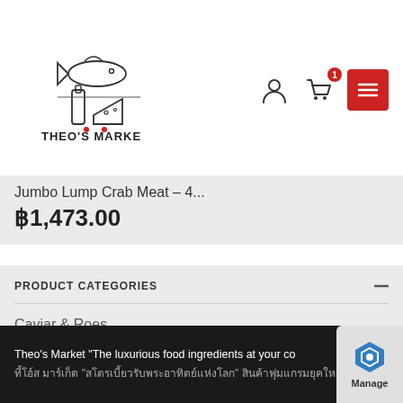[Figure (logo): Theo's Market logo with fish, bottle, and cheese illustration. Text reads THEO'S MARKET YOUR SPECIALIST]
Jumbo Lump Crab Meat – 4...
฿1,473.00
PRODUCT CATEGORIES
Caviar & Roes
Dairy & Cheese
Equipment
Meat
Theo's Market "The luxurious food ingredients at your co...
[Figure (logo): Manage badge with blue hexagon icon and text Manage]